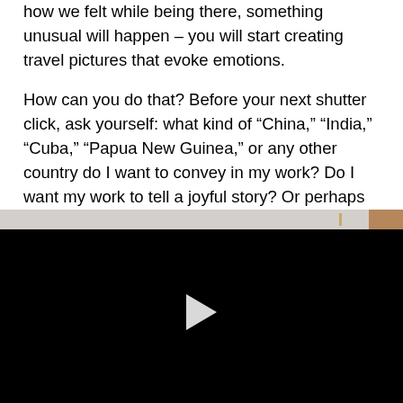how we felt while being there, something unusual will happen – you will start creating travel pictures that evoke emotions.
How can you do that? Before your next shutter click, ask yourself: what kind of “China,” “India,” “Cuba,” “Papua New Guinea,” or any other country do I want to convey in my work? Do I want my work to tell a joyful story? Or perhaps one that is sad and depressing?
[Figure (other): A video player with a black background, a light gray/tan strip at the top, and a white play button triangle in the center.]